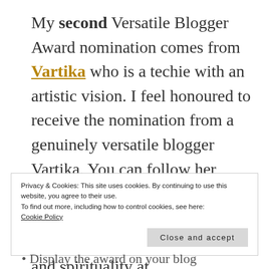My second Versatile Blogger Award nomination comes from Vartika who is a techie with an artistic vision. I feel honoured to receive the nomination from a genuinely versatile blogger Vartika. You can follow her reviews (on books, movies and games) as well as interesting writes on life, humour, society and spirituality at https://vartikaforu.wordpress.com/.
Privacy & Cookies: This site uses cookies. By continuing to use this website, you agree to their use.
To find out more, including how to control cookies, see here:
Cookie Policy
Display the award on your blog